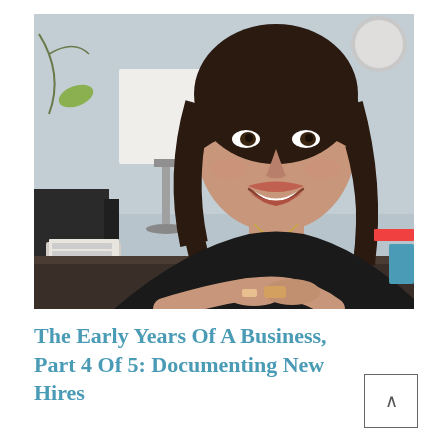[Figure (photo): A smiling woman with dark hair sitting at a desk with a lamp and business card holder in the background, in an office setting]
The Early Years Of A Business, Part 4 Of 5: Documenting New Hires